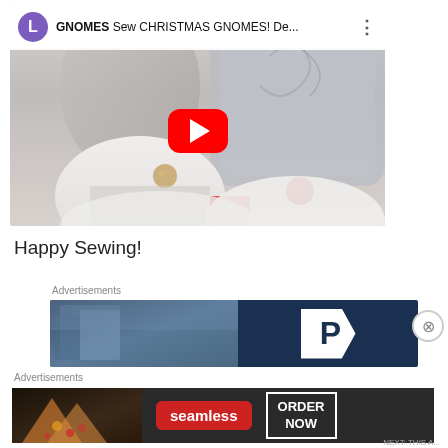[Figure (screenshot): YouTube video embed showing Christmas gnomes, with channel avatar (purple circle with L), video title 'Sew CHRISTMAS GNOMES! De...', three-dot menu, and red YouTube play button over gnome thumbnail image]
Happy Sewing!
Advertisements
[Figure (screenshot): Advertisement banner showing dark blue background with large white P logo on right side and blurry building image on left]
Advertisements
[Figure (screenshot): Seamless food delivery advertisement banner showing pizza image on left, red 'seamless' badge in center, and 'ORDER NOW' button on right, all on dark background]